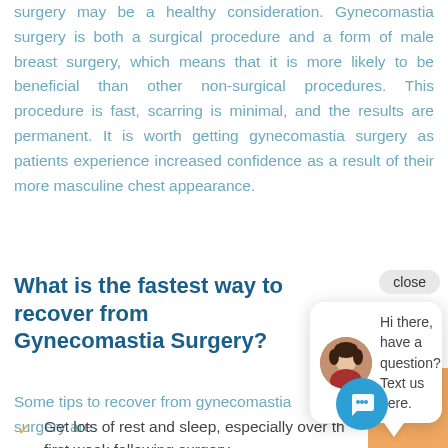surgery may be a healthy consideration. Gynecomastia surgery is both a surgical procedure and a form of male breast surgery, which means that it is more likely to be beneficial than other non-surgical procedures. This procedure is fast, scarring is minimal, and the results are permanent. It is worth getting gynecomastia surgery as patients experience increased confidence as a result of their more masculine chest appearance.
What is the fastest way to recover from Gynecomastia Surgery?
Some tips to recover from gynecomastia surgery are:
Get lots of rest and sleep, especially over the first week following surgery.
[Figure (screenshot): Chat popup widget with close button, avatar of a woman, and text 'Hi there, have a question? Text us here.' A blue circular chat icon button is in the bottom right corner. An orange square is partially visible in the bottom right corner.]